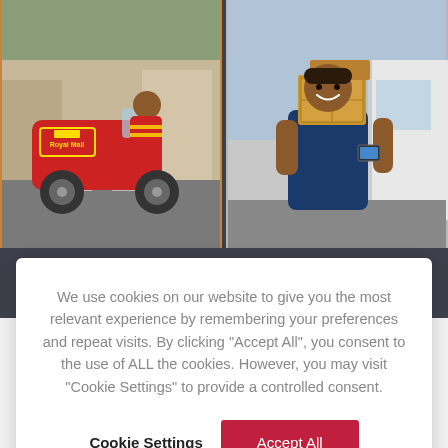[Figure (photo): Left photo: Royal Mail worker riding a red electric delivery vehicle on a street]
[Figure (photo): Right photo: Smiling delivery man holding boxes beside a white van]
We use cookies on our website to give you the most relevant experience by remembering your preferences and repeat visits. By clicking “Accept All”, you consent to the use of ALL the cookies. However, you may visit “Cookie Settings” to provide a controlled consent.
Cookie Settings
Accept All
Register for Newsletter
[Figure (illustration): Person/user silhouette icon in gray outline]